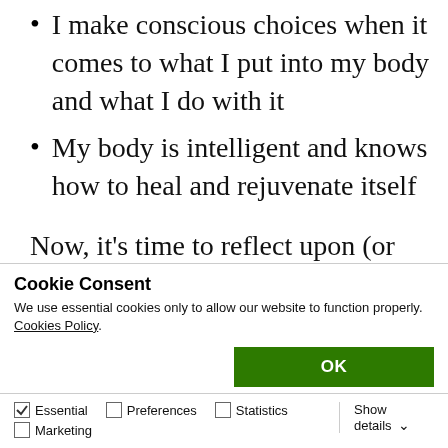I make conscious choices when it comes to what I put into my body and what I do with it
My body is intelligent and knows how to heal and rejuvenate itself
Now, it’s time to reflect upon (or perhaps discover) your beliefs with the action steps below
Cookie Consent
We use essential cookies only to allow our website to function properly. Cookies Policy.
OK
Essential   Preferences   Statistics   Marketing   Show details